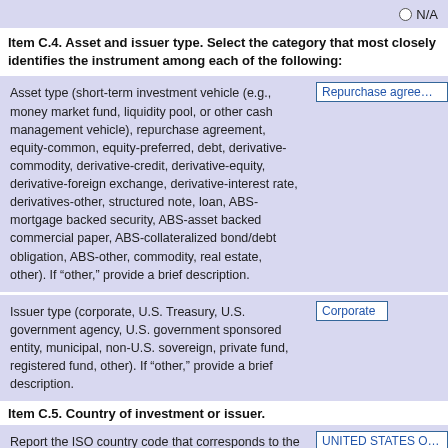N/A
Item C.4. Asset and issuer type. Select the category that most closely identifies the instrument among each of the following:
Asset type (short-term investment vehicle (e.g., money market fund, liquidity pool, or other cash management vehicle), repurchase agreement, equity-common, equity-preferred, debt, derivative-commodity, derivative-credit, derivative-equity, derivative-foreign exchange, derivative-interest rate, derivatives-other, structured note, loan, ABS-mortgage backed security, ABS-asset backed commercial paper, ABS-collateralized bond/debt obligation, ABS-other, commodity, real estate, other). If “other,” provide a brief description.
Repurchase agreement
Issuer type (corporate, U.S. Treasury, U.S. government agency, U.S. government sponsored entity, municipal, non-U.S. sovereign, private fund, registered fund, other). If “other,” provide a brief description.
Corporate
Item C.5. Country of investment or issuer.
Report the ISO country code that corresponds to the country where the issuer is organized.
UNITED STATES OF AM